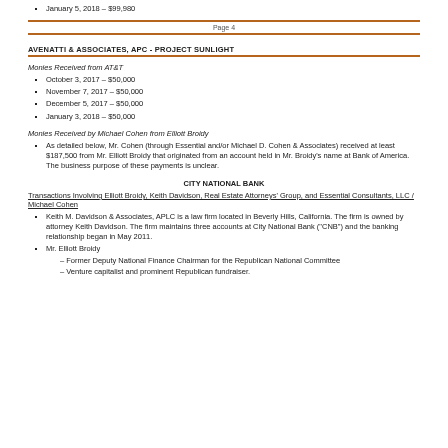January 5, 2018 – $99,980
Page 4
AVENATTI & ASSOCIATES, APC - PROJECT SUNLIGHT
Monies Received from AT&T
October 3, 2017 – $50,000
November 7, 2017 – $50,000
December 5, 2017 – $50,000
January 3, 2018 – $50,000
Monies Received by Michael Cohen from Elliott Broidy
As detailed below, Mr. Cohen (through Essential and/or Michael D. Cohen & Associates) received at least $187,500 from Mr. Elliott Broidy that originated from an account held in Mr. Broidy's name at Bank of America. The business purpose of these payments is unclear.
CITY NATIONAL BANK
Transactions Involving Elliott Broidy, Keith Davidson, Real Estate Attorneys' Group, and Essential Consultants, LLC / Michael Cohen
Keith M. Davidson & Associates, APLC is a law firm located in Beverly Hills, California. The firm is owned by attorney Keith Davidson. The firm maintains three accounts at City National Bank ("CNB") and the banking relationship began in May 2011.
Mr. Elliott Broidy
Former Deputy National Finance Chairman for the Republican National Committee
Venture capitalist and prominent Republican fundraiser.